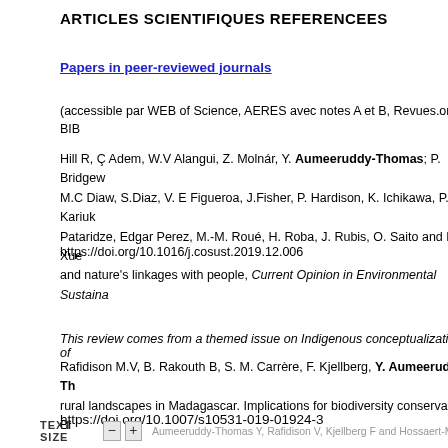ARTICLES SCIENTIFIQUES REFERENCEES
Papers in peer-reviewed journals
(accessible par WEB of Science, AERES avec notes A et B, Revues.org, BIB
Hill R, Ç Adem, W.V Alangui, Z. Molnár, Y. Aumeeruddy-Thomas, P. Bridgew M.C Diaw, S.Diaz, V. E Figueroa, J.Fisher, P. Hardison, K. Ichikawa, P. Kariuk Pataridze, Edgar Perez, M.-M. Roué, H. Roba, J. Rubis, O. Saito and D. Xue and nature's linkages with people, Current Opinion in Environmental Sustaina
https://doi.org/10.1016/j.cosust.2019.12.006
This review comes from a themed issue on Indigenous conceptualizations of
Rafidison M.V, B. Rakouth B, S. M. Carrère, F. Kjellberg, Y. Aumeeruddy-Th rural landscapes in Madagascar. Implications for biodiversity conservation. Bi
https://doi.org/10.1007/s10531-019-01924-3
A. Taschen, M. Sauve, B. Vincent, J. Parladé, D. van Tuinen, Y. Aumeerudd tripartite interactions between the black truffle (Tuber melanosporum), holm o
TEXT SIZE  −  +  Aumeeruddy-Thomas Y, Rafidison V, Kjellberg F and Hossaert-McKey M B